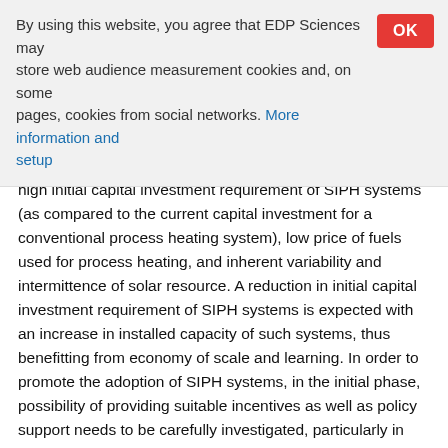By using this website, you agree that EDP Sciences may store web audience measurement cookies and, on some pages, cookies from social networks. More information and setup
high initial capital investment requirement of SIPH systems (as compared to the current capital investment for a conventional process heating system), low price of fuels used for process heating, and inherent variability and intermittence of solar resource. A reduction in initial capital investment requirement of SIPH systems is expected with an increase in installed capacity of such systems, thus benefitting from economy of scale and learning. In order to promote the adoption of SIPH systems, in the initial phase, possibility of providing suitable incentives as well as policy support needs to be carefully investigated, particularly in emerging economies with large industrial sectors.
To promote the harnessing of solar energy for industrial process heating, the Government of India has implemented a